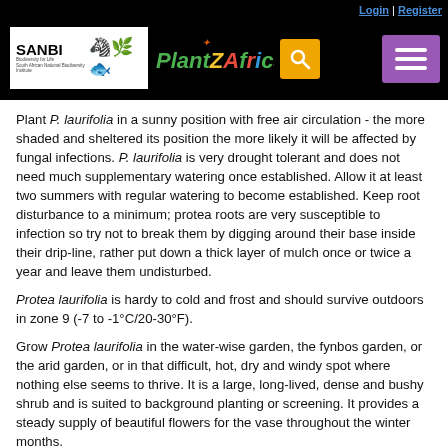Login | Register — PlantZAfrica.com header with SANBI logo, search, and menu
Plant P. laurifolia in a sunny position with free air circulation - the more shaded and sheltered its position the more likely it will be affected by fungal infections. P. laurifolia is very drought tolerant and does not need much supplementary watering once established. Allow it at least two summers with regular watering to become established. Keep root disturbance to a minimum; protea roots are very susceptible to infection so try not to break them by digging around their base inside their drip-line, rather put down a thick layer of mulch once or twice a year and leave them undisturbed.
Protea laurifolia is hardy to cold and frost and should survive outdoors in zone 9 (-7 to -1°C/20-30°F).
Grow Protea laurifolia in the water-wise garden, the fynbos garden, or the arid garden, or in that difficult, hot, dry and windy spot where nothing else seems to thrive. It is a large, long-lived, dense and bushy shrub and is suited to background planting or screening. It provides a steady supply of beautiful flowers for the vase throughout the winter months.